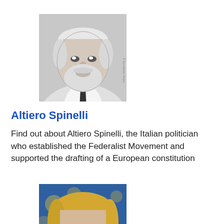[Figure (photo): Black and white photograph of Altiero Spinelli, an elderly man with white beard, wearing a dark tie and light jacket, with '© European Union' watermark on the right side]
Altiero Spinelli
Find out about Altiero Spinelli, the Italian politician who established the Federalist Movement and supported the drafting of a European constitution
[Figure (photo): Color photograph of a middle-aged blonde woman wearing glasses, partially cropped at the bottom, with a blurry blue European Union flag background]